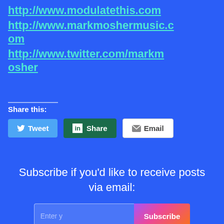http://www.modulatethis.com
http://www.markmoshermusic.com
http://www.twitter.com/markmosher
Share this:
Tweet | Share | Email
Subscribe if you'd like to receive posts via email:
Enter y | Subscribe